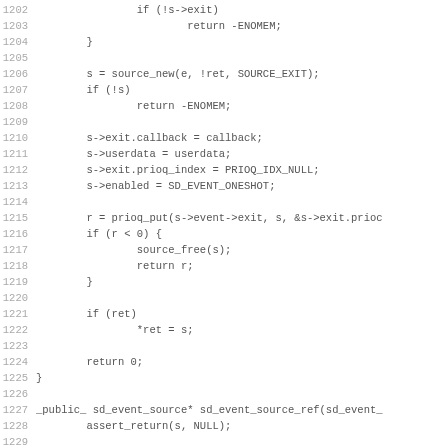[Figure (other): Source code listing in C, lines 1202-1234, showing event source initialization and reference counting functions]